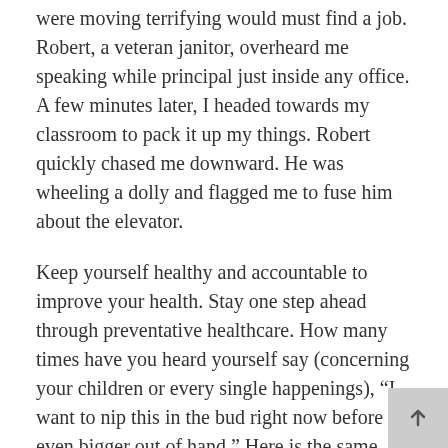were moving terrifying would must find a job. Robert, a veteran janitor, overheard me speaking while principal just inside any office. A few minutes later, I headed towards my classroom to pack it up my things. Robert quickly chased me downward. He was wheeling a dolly and flagged me to fuse him about the elevator.
Keep yourself healthy and accountable to improve your health. Stay one step ahead through preventative healthcare. How many times have you heard yourself say (concerning your children or every single happenings), “I want to nip this in the bud right now before even bigger out of hand.” Here is the same attitude we must keep concerning our genuine health.
Determine what expenses will be covered. Getting ImALazyMom.com isn’t joke a person will wind up paying for everything. Your health insurance carrier should look out of the price set inside of policy. Inside your don’t check the terms